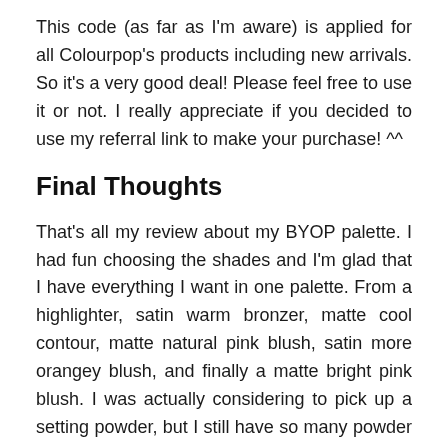This code (as far as I'm aware) is applied for all Colourpop's products including new arrivals. So it's a very good deal! Please feel free to use it or not. I really appreciate if you decided to use my referral link to make your purchase! ^^
Final Thoughts
That's all my review about my BYOP palette. I had fun choosing the shades and I'm glad that I have everything I want in one palette. From a highlighter, satin warm bronzer, matte cool contour, matte natural pink blush, satin more orangey blush, and finally a matte bright pink blush. I was actually considering to pick up a setting powder, but I still have so many powder I want to finish, so I decided not to pick it up (for now).